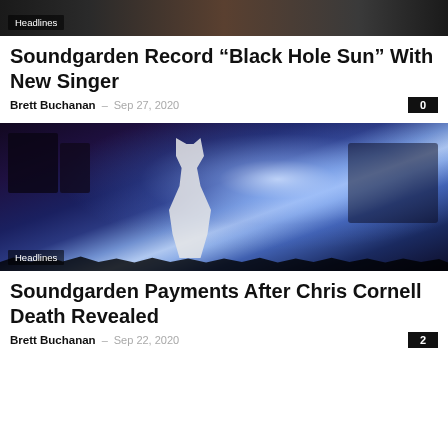[Figure (photo): Top cropped photo strip showing people, partially visible]
Headlines
Soundgarden Record “Black Hole Sun” With New Singer
Brett Buchanan – Sep 27, 2020  0
[Figure (photo): Concert performance photo showing guitarist on stage with bright blue stage lighting and audience silhouettes]
Headlines
Soundgarden Payments After Chris Cornell Death Revealed
Brett Buchanan – Sep 22, 2020  2